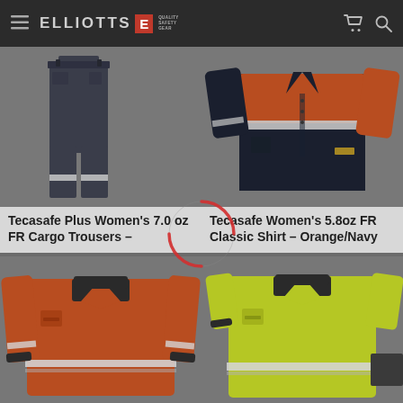[Figure (screenshot): Elliotts Quality Safety Gear e-commerce website header navigation bar with hamburger menu, logo, cart icon, and search icon on dark background]
[Figure (photo): Tecasafe Plus Women's 7.0 oz FR Cargo Trousers product image showing dark navy trousers with reflective stripe]
[Figure (photo): Tecasafe Women's 5.8oz FR Classic Shirt - Orange/Navy product image showing orange and navy long sleeve FR shirt with reflective tape]
[Figure (illustration): Red loading spinner animation overlay in center of page between product rows]
Tecasafe Plus Women's 7.0 oz FR Cargo Trousers –
Tecasafe Women's 5.8oz FR Classic Shirt – Orange/Navy
[Figure (photo): Orange FR polo shirt with reflective tape bands, dark collar, long sleeve workwear]
[Figure (photo): Yellow/lime green FR polo shirt with reflective tape band, dark collar, short sleeve workwear]